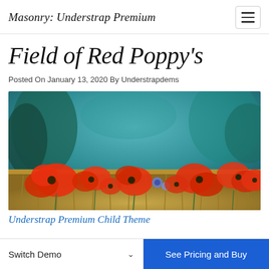Masonry: Understrap Premium
Field of Red Poppy's
Posted On January 13, 2020 By Understrapdems
[Figure (photo): Field of red poppies with a few blue flowers, teal/blurred background of trees and sky]
Understrap Premium Child Theme
Switch Demo
See Pricing and Buy